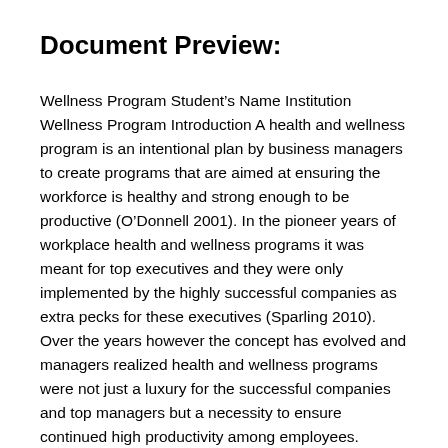Document Preview:
Wellness Program Student's Name Institution Wellness Program Introduction A health and wellness program is an intentional plan by business managers to create programs that are aimed at ensuring the workforce is healthy and strong enough to be productive (O'Donnell 2001). In the pioneer years of workplace health and wellness programs it was meant for top executives and they were only implemented by the highly successful companies as extra pecks for these executives (Sparling 2010). Over the years however the concept has evolved and managers realized health and wellness programs were not just a luxury for the successful companies and top managers but a necessity to ensure continued high productivity among employees. Additionally research